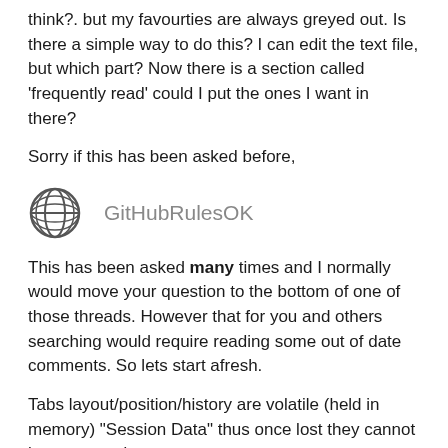think?. but my favourties are always greyed out. Is there a simple way to do this? I can edit the text file, but which part? Now there is a section called 'frequently read' could I put the ones I want in there?
Sorry if this has been asked before,
GitHubRulesOK
This has been asked many times and I normally would move your question to the bottom of one of those threads. However that for you and others searching would require reading some out of date comments. So lets start afresh.
Tabs layout/position/history are volatile (held in memory) "Session Data" thus once lost they cannot be recovered.
In past versions (3.2 or before) they were “remembered” at the end of the session and on a clean exit got written into the settings file ONCE on exit, for next start-up